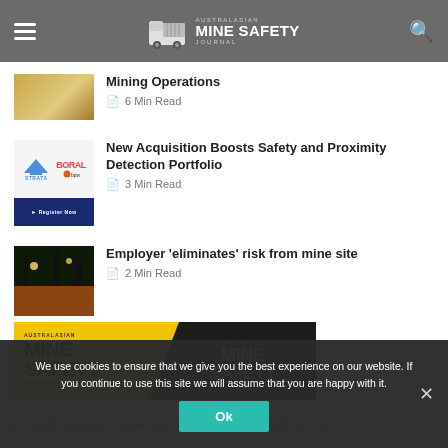Australasian Mine Safety Journal
Mining Operations
6 Min Read
New Acquisition Boosts Safety and Proximity Detection Portfolio
3 Min Read
Employer 'eliminates' risk from mine site
2 Min Read
[Figure (illustration): Australasian Mine Safety Journal banner advertisement showing logo and magazine cover]
Privacy & Cookies: This site uses cookies. By continuing to use this
We use cookies to ensure that we give you the best experience on our website. If you continue to use this site we will assume that you are happy with it.
Ok